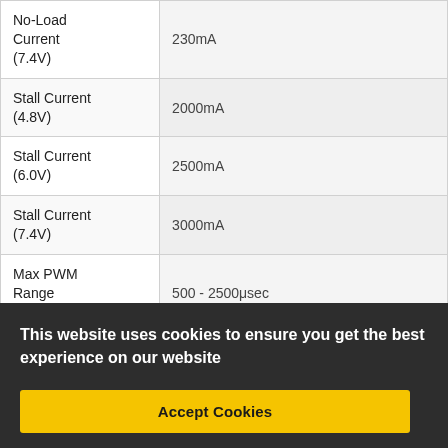| Parameter | Value |
| --- | --- |
| No-Load Current (7.4V) | 230mA |
| Stall Current (4.8V) | 2000mA |
| Stall Current (6.0V) | 2500mA |
| Stall Current (7.4V) | 3000mA |
| Max PWM Range (Default) | 500 - 2500μsec |
| Max PWM Range (Continuous) | 1000 - 2000μsec |
This website uses cookies to ensure you get the best experience on our website
Accept Cookies